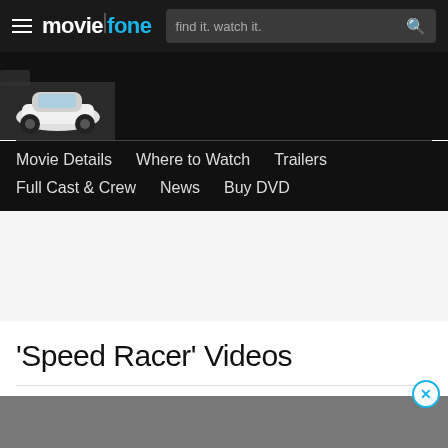moviefone — find it. watch it.
[Figure (screenshot): Partial movie thumbnail showing a white car at bottom of dark image area]
Movie Details
Where to Watch
Trailers
Full Cast & Crew
News
Buy DVD
'Speed Racer' Videos
[Figure (other): Gray advertisement placeholder area with close (X) button in top right corner]